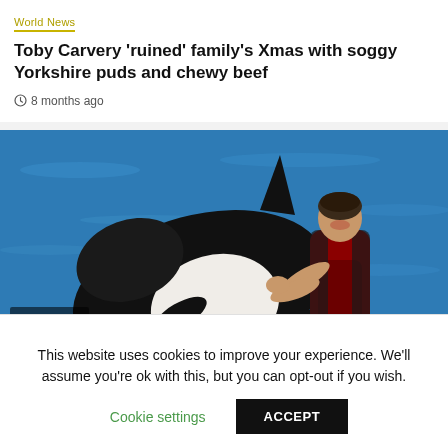World News
Toby Carvery 'ruined' family's Xmas with soggy Yorkshire puds and chewy beef
8 months ago
[Figure (photo): A woman in a red and black wetsuit smiling and hugging a large orca (killer whale) at what appears to be a marine park, with blue water in the background. Badge reads '2 min read'.]
World News
This website uses cookies to improve your experience. We'll assume you're ok with this, but you can opt-out if you wish.
Cookie settings   ACCEPT